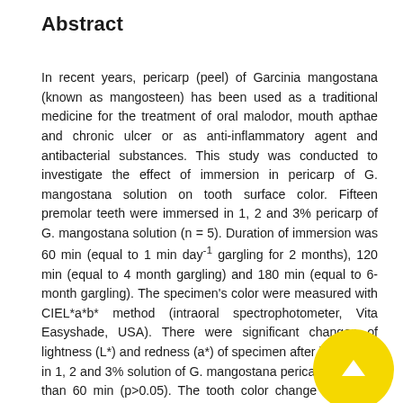Abstract
In recent years, pericarp (peel) of Garcinia mangostana (known as mangosteen) has been used as a traditional medicine for the treatment of oral malodor, mouth apthae and chronic ulcer or as anti-inflammatory agent and antibacterial substances. This study was conducted to investigate the effect of immersion in pericarp of G. mangostana solution on tooth surface color. Fifteen premolar teeth were immersed in 1, 2 and 3% pericarp of G. mangostana solution (n = 5). Duration of immersion was 60 min (equal to 1 min day⁻¹ gargling for 2 months), 120 min (equal to 4 month gargling) and 180 min (equal to 6-month gargling). The specimen's color were measured with CIEL*a*b* method (intraoral spectrophotometer, Vita Easyshade, USA). There were significant changes of lightness (L*) and redness (a*) of specimen after immersion in 1, 2 and 3% solution of G. mangostana pericarp for more than 60 min (p>0.05). The tooth color change (AE) was clinically perceptible and beyond clinical tolerance (AE>3.50) in all immersion time. It was concluded that G. mangostana solution can affect tooth color and was clinically unacceptable. The highest color change was in group that immersed on 2% mangosteen solution for 180 min (AE = 20.35), it was equal to gargling for 6 months/day/minutes.